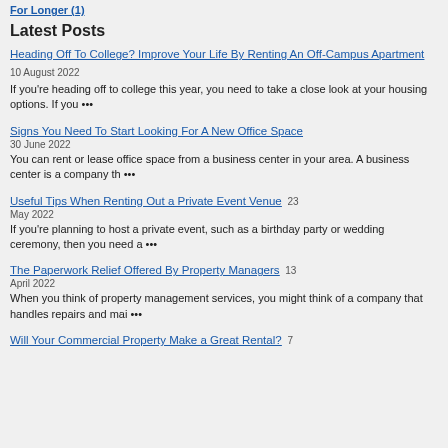Latest Posts
Heading Off To College? Improve Your Life By Renting An Off-Campus Apartment 10 August 2022
If you're heading off to college this year, you need to take a close look at your housing options. If you •••
Signs You Need To Start Looking For A New Office Space 30 June 2022
You can rent or lease office space from a business center in your area. A business center is a company th •••
Useful Tips When Renting Out a Private Event Venue 23 May 2022
If you're planning to host a private event, such as a birthday party or wedding ceremony, then you need a •••
The Paperwork Relief Offered By Property Managers 13 April 2022
When you think of property management services, you might think of a company that handles repairs and mai •••
Will Your Commercial Property Make a Great Rental? 7